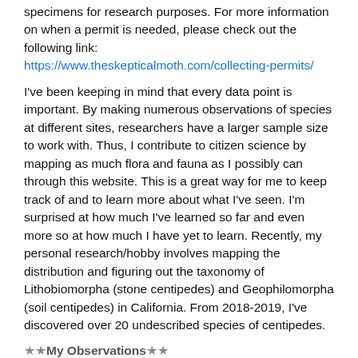specimens for research purposes. For more information on when a permit is needed, please check out the following link:
https://www.theskepticalmoth.com/collecting-permits/
I've been keeping in mind that every data point is important. By making numerous observations of species at different sites, researchers have a larger sample size to work with. Thus, I contribute to citizen science by mapping as much flora and fauna as I possibly can through this website. This is a great way for me to keep track of and to learn more about what I've seen. I'm surprised at how much I've learned so far and even more so at how much I have yet to learn. Recently, my personal research/hobby involves mapping the distribution and figuring out the taxonomy of Lithobiomorpha (stone centipedes) and Geophilomorpha (soil centipedes) in California. From 2018-2019, I've discovered over 20 undescribed species of centipedes.
★★My Observations★★
The majority of my observations are from Southern California and consists mainly of plants and invertebrates. Most of my recent photos have been taken with the Olympus TG-4 digital camera. I occasionally upload audio files and observations from my siblings.